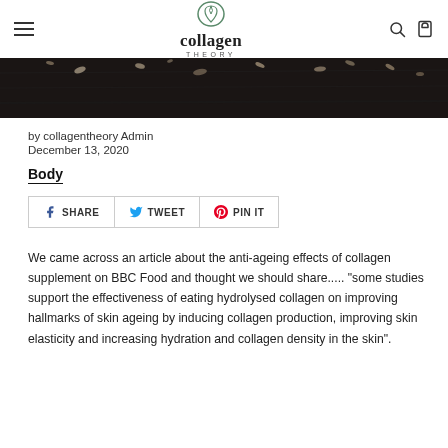collagen theory
[Figure (photo): Close-up dark background with scattered food items (nuts/grains) on a dark wooden surface — hero banner image strip]
by collagentheory Admin
December 13, 2020
Body
SHARE  TWEET  PIN IT
We came across an article about the anti-ageing effects of collagen supplement on BBC Food and thought we should share.....  "some studies support the effectiveness of eating hydrolysed collagen on improving hallmarks of skin ageing by inducing collagen production, improving skin elasticity and increasing hydration and collagen density in the skin".